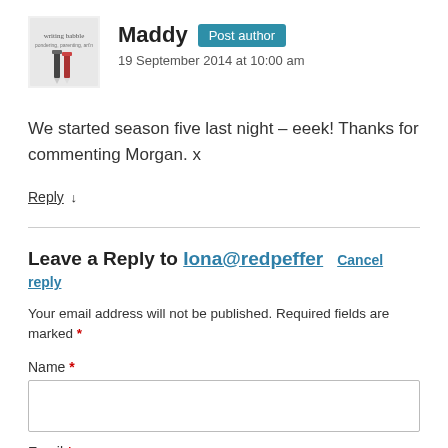Maddy | Post author | 19 September 2014 at 10:00 am
We started season five last night – eeek! Thanks for commenting Morgan. x
Reply ↓
Leave a Reply to Iona@redpeffer   Cancel reply
Your email address will not be published. Required fields are marked *
Name *
Email *